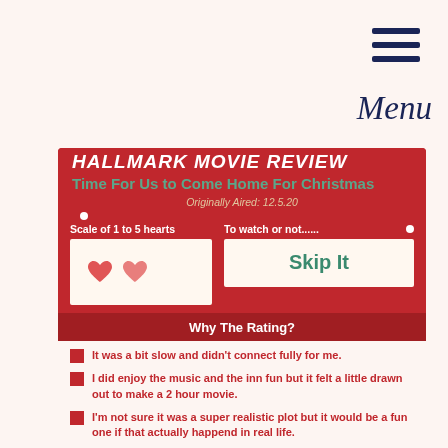[Figure (infographic): Hamburger menu icon (three horizontal dark navy bars) with 'Menu' text in italic script below, on cream background]
Hallmark Movie Review
Time For Us to Come Home For Christmas
Originally Aired: 12.5.20
Scale of 1 to 5 hearts
[Figure (infographic): Two red hearts shown in a cream-colored box representing a 2 out of 5 hearts rating]
To watch or not......
Skip It
Why The Rating?
It was a bit slow and didn't connect fully for me.
I did enjoy the music and the inn fun but it felt a little drawn out to make a 2 hour movie.
I'm not sure it was a super realistic plot but it would be a fun one if that actually happend in real life.
[Figure (illustration): Christmas scene with green trees and a gift box at the bottom of the card]